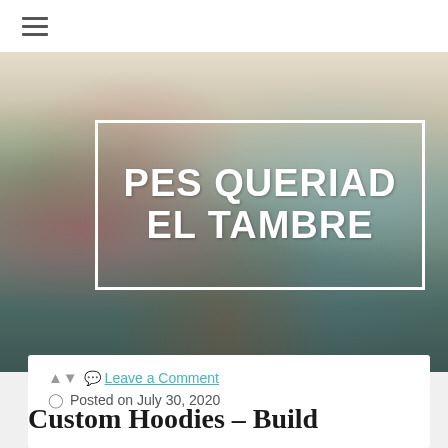☰ (hamburger menu)
[Figure (photo): Interior living room photo with floral arrangement in foreground, blue upholstered furniture, curtained windows. Overlaid with white-bordered text box containing 'PES QUERIAD EL TAMBRE' in large white bold letters.]
Leave a Comment
Posted on July 30, 2020
Custom Hoodies – Build